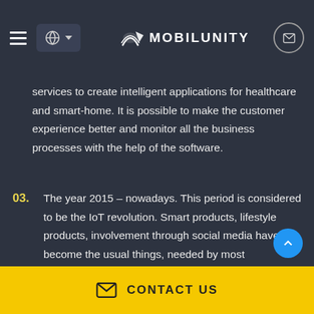MOBILUNITY
services to create intelligent applications for healthcare and smart-home. It is possible to make the customer experience better and monitor all the business processes with the help of the software.
03. The year 2015 – nowadays. This period is considered to be the IoT revolution. Smart products, lifestyle products, involvement through social media have become the usual things, needed by most businesses. Engineering outsourcing companies pay more attention to information security, automation,
CONTACT US